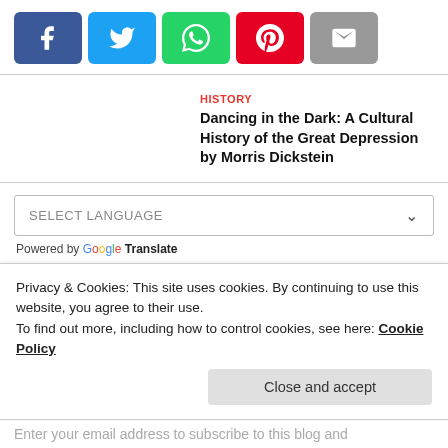[Figure (other): Social share buttons row: Facebook (blue), Twitter (cyan), WhatsApp (green), Pinterest (red), Email (grey)]
HISTORY
Dancing in the Dark: A Cultural History of the Great Depression by Morris Dickstein
[Figure (other): SELECT LANGUAGE dropdown with chevron. Powered by Google Translate.]
Register or Login
Privacy & Cookies: This site uses cookies. By continuing to use this website, you agree to their use.
To find out more, including how to control cookies, see here: Cookie Policy
Close and accept
Enter your email address to subscribe to this blog and